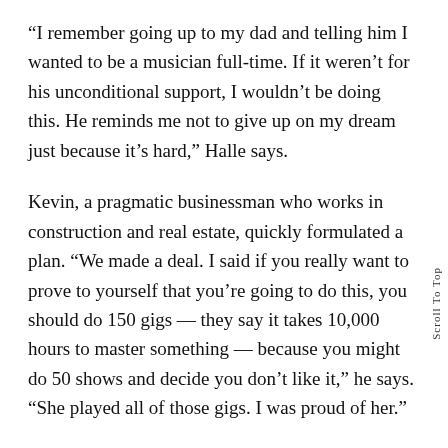“I remember going up to my dad and telling him I wanted to be a musician full-time. If it weren’t for his unconditional support, I wouldn’t be doing this. He reminds me not to give up on my dream just because it’s hard,” Halle says.
Kevin, a pragmatic businessman who works in construction and real estate, quickly formulated a plan. “We made a deal. I said if you really want to prove to yourself that you’re going to do this, you should do 150 gigs — they say it takes 10,000 hours to master something — because you might do 50 shows and decide you don’t like it,” he says. “She played all of those gigs. I was proud of her.”
Instead of heading straight for Nashville after graduation in 2015, as Halle had intended, she and